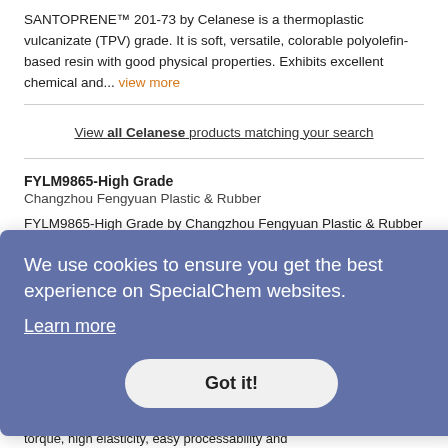SANTOPRENE™ 201-73 by Celanese is a thermoplastic vulcanizate (TPV) grade. It is soft, versatile, colorable polyolefin-based resin with good physical properties. Exhibits excellent chemical and... view more
View all Celanese products matching your search
FYLM9865-High Grade
Changzhou Fengyuan Plastic & Rubber
FYLM9865-High Grade by Changzhou Fengyuan Plastic Rubber is a... grade. It
[Figure (screenshot): Cookie consent banner overlay with blue-purple background. Text reads: 'We use cookies to ensure you get the best experience on SpecialChem websites.' with a 'Learn more' link and a 'Got it!' button.]
is a thermoplastic elastomer (TPE) grade. Exhibits high tension, high torque, high elasticity, easy processability and